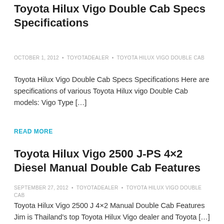Toyota Hilux Vigo Double Cab Specs Specifications
OCTOBER 1, 2012 • TOYOTADEALER • TOYOTA HILUX VIGO DOUBLE CAB
Toyota Hilux Vigo Double Cab Specs Specifications Here are specifications of various Toyota Hilux vigo Double Cab models: Vigo Type […]
READ MORE
Toyota Hilux Vigo 2500 J-PS 4×2 Diesel Manual Double Cab Features
SEPTEMBER 27, 2012 • TOYOTADEALER • TOYOTA HILUX VIGO DOUBLE CAB
Toyota Hilux Vigo 2500 J 4×2 Manual Double Cab Features Jim is Thailand's top Toyota Hilux Vigo dealer and Toyota […]